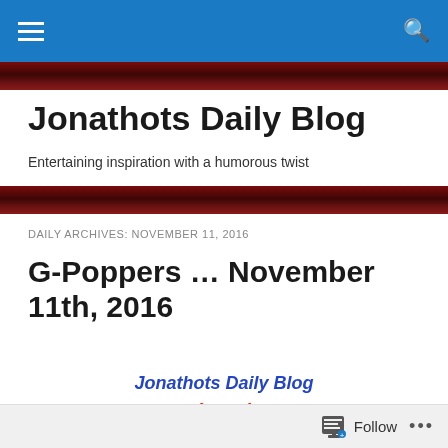Jonathots Daily Blog — navigation bar with hamburger menu and search icon
Jonathots Daily Blog
Entertaining inspiration with a humorous twist
DAILY ARCHIVES: NOVEMBER 11, 2016
G-Poppers … November 11th, 2016
Jonathots Daily Blog
(3122)
Follow ...